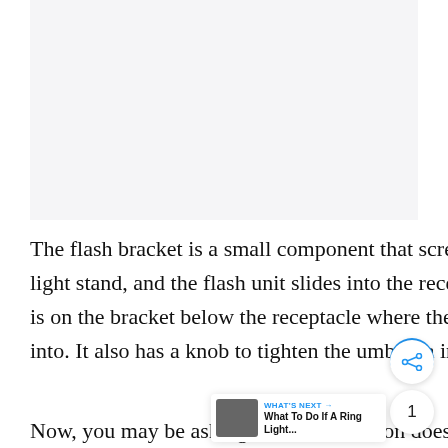[Figure (photo): Light gray placeholder area representing an image at the top of the page]
The flash bracket is a small component that screws snuggly on top of the light stand, and the flash unit slides into the receptacle on top. A small hole is on the bracket below the receptacle where the umbrella handle will slide into. It also has a knob to tighten the umbrella in place.
Now, you may be asking, 'Which direction does the